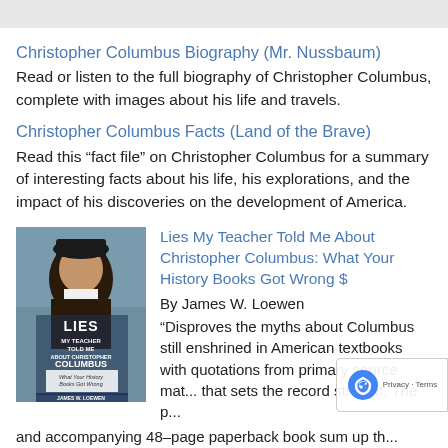Christopher Columbus Biography (Mr. Nussbaum)
Read or listen to the full biography of Christopher Columbus, complete with images about his life and travels.
Christopher Columbus Facts (Land of the Brave)
Read this “fact file” on Christopher Columbus for a summary of interesting facts about his life, his explorations, and the impact of his discoveries on the development of America.
[Figure (photo): Book cover of 'Lies My Teacher Told Me About Christopher Columbus: What Your History Books Got Wrong' by James W. Loewen, showing a portrait of Christopher Columbus]
Lies My Teacher Told Me About Christopher Columbus: What Your History Books Got Wrong $
By James W. Loewen
“Disproves the myths about Columbus still enshrined in American textbooks with quotations from primary source ma... that sets the record straight. The p...
and accompanying 48–page paperback book sum up th...